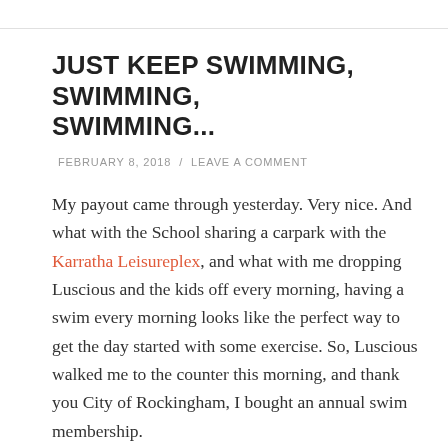JUST KEEP SWIMMING, SWIMMING, SWIMMING...
FEBRUARY 8, 2018 / LEAVE A COMMENT
My payout came through yesterday. Very nice. And what with the School sharing a carpark with the Karratha Leisureplex, and what with me dropping Luscious and the kids off every morning, having a swim every morning looks like the perfect way to get the day started with some exercise. So, Luscious walked me to the counter this morning, and thank you City of Rockingham, I bought an annual swim membership.
Five days a week, forty weeks of the year, I've got no